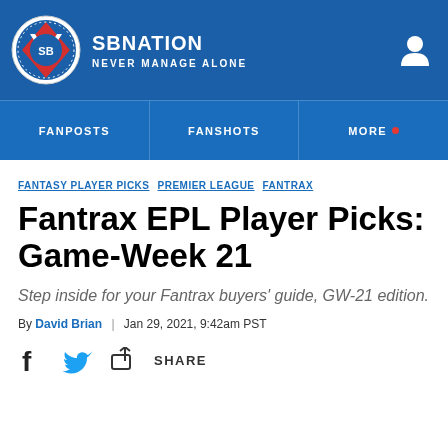SB NATION — NEVER MANAGE ALONE
FANPOSTS | FANSHOTS | MORE
FANTASY PLAYER PICKS  PREMIER LEAGUE  FANTRAX
Fantrax EPL Player Picks: Game-Week 21
Step inside for your Fantrax buyers' guide, GW-21 edition.
By David Brian | Jan 29, 2021, 9:42am PST
SHARE